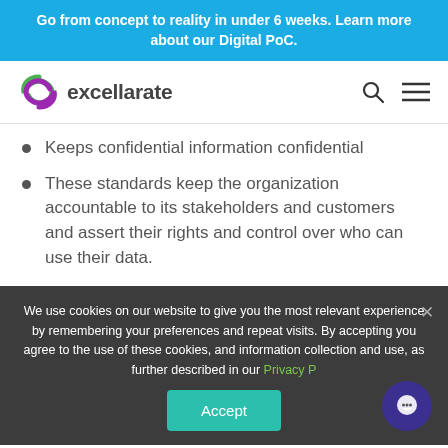Go from concept to reality in under 6 weeks. Learn more about our Digital PoC.
[Figure (logo): Excellarate logo with green and purple swirl icon and company name text]
Keeps confidential information confidential
These standards keep the organization accountable to its stakeholders and customers and assert their rights and control over who can use their data.
We use cookies on our website to give you the most relevant experience by remembering your preferences and repeat visits. By accepting you agree to the use of these cookies, and information collection and use, as further described in our Privacy P[olicy]
Accept